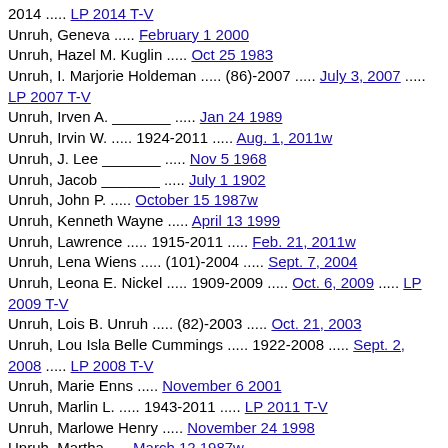2014 ..... LP 2014 T-V
Unruh, Geneva ..... February 1 2000
Unruh, Hazel M. Kuglin ..... Oct 25 1983
Unruh, I. Marjorie Holdeman ..... (86)-2007 ..... July 3, 2007 ..... LP 2007 T-V
Unruh, Irven A. _______ ..... Jan 24 1989
Unruh, Irvin W. ..... 1924-2011 ..... Aug. 1, 2011w
Unruh, J. Lee _______ ..... Nov 5 1968
Unruh, Jacob _______ ..... July 1 1902
Unruh, John P. ..... October 15 1987w
Unruh, Kenneth Wayne ..... April 13 1999
Unruh, Lawrence ..... 1915-2011 ..... Feb. 21, 2011w
Unruh, Lena Wiens ..... (101)-2004 ..... Sept. 7, 2004
Unruh, Leona E. Nickel ..... 1909-2009 ..... Oct. 6, 2009 ..... LP 2009 T-V
Unruh, Lois B. Unruh ..... (82)-2003 ..... Oct. 21, 2003
Unruh, Lou Isla Belle Cummings ..... 1922-2008 ..... Sept. 2, 2008 ..... LP 2008 T-V
Unruh, Marie Enns ..... November 6 2001
Unruh, Marlin L. ..... 1943-2011 ..... LP 2011 T-V
Unruh, Marlowe Henry ..... November 24 1998
Unruh, Martha ..... March 12 1987w
Unruh, Martha A. Penner ..... March 26 1987w
Unruh, Martha C Schmidt ..... April 16 1987w
Unruh, Martha E. Hostetler ..... March 7 1935